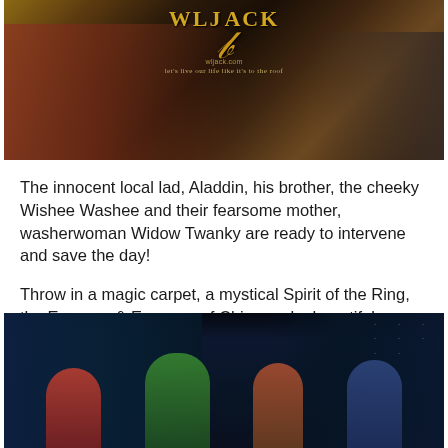[Figure (photo): Photo showing people from behind with WLJack logo overlay and tagline 'let's live our life like it's to the roof']
The innocent local lad, Aladdin, his brother, the cheeky Wishee Washee and their fearsome mother, washerwoman Widow Twanky are ready to intervene and save the day!
Throw in a magic carpet, a mystical Spirit of the Ring, the Emperor & Empress of China and a beautiful princess and you have all the ingredients for a fantastic tale and great entertainment!
[Figure (photo): Stage performance photo showing four performers in costume against dark blue curtain backdrop with sparkle effects]